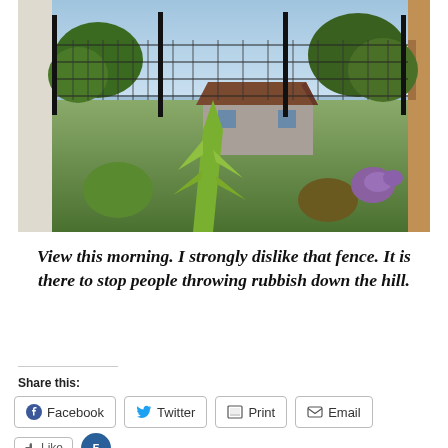[Figure (photo): Outdoor photo showing a garden/hillside view with a metal wire fence, tall plants, trees, a small house/building in the background, blue sky, white wall on the left, and an orange/brown building on the right.]
View this morning. I strongly dislike that fence. It is there to stop people throwing rubbish down the hill.
Share this:
Facebook
Twitter
Print
Email